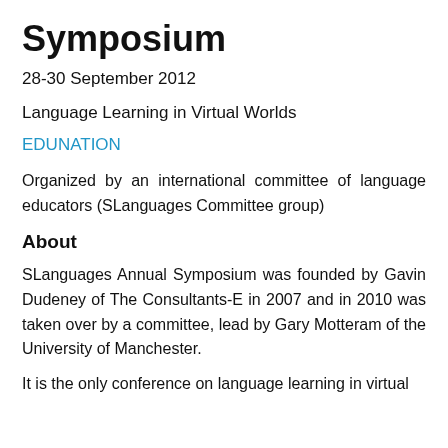Symposium
28-30 September 2012
Language Learning in Virtual Worlds
EDUNATION
Organized by an international committee of language educators (SLanguages Committee group)
About
SLanguages Annual Symposium was founded by Gavin Dudeney of The Consultants-E in 2007 and in 2010 was taken over by a committee, lead by Gary Motteram of the University of Manchester.
It is the only conference on language learning in virtual